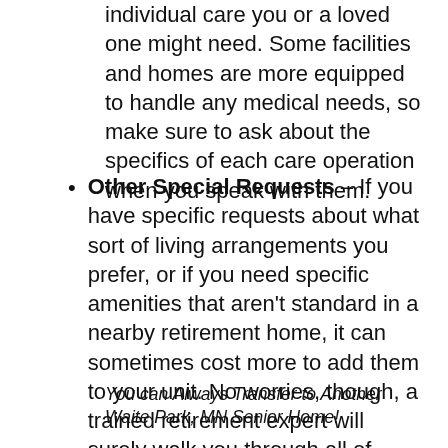individual care you or a loved one might need. Some facilities and homes are more equipped to handle any medical needs, so make sure to ask about the specifics of each care operation when you speak with them.
Other Special Requests – If you have specific requests about what sort of living arrangements you prefer, or if you need specific amenities that aren't standard in a nearby retirement home, it can sometimes cost more to add them to your unit. No worries, though, a trained retirement expert will surely walk you through all of these details and more.
You can Always Transfer to Another Waite Park, MN Senior Home!